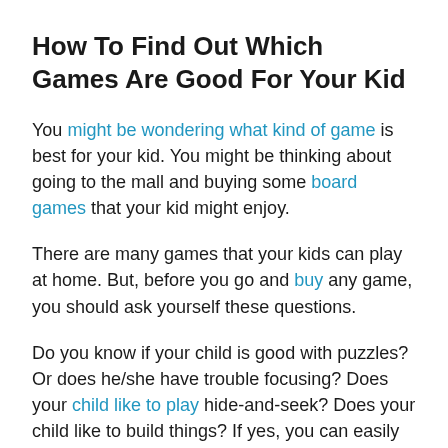How To Find Out Which Games Are Good For Your Kid
You might be wondering what kind of game is best for your kid. You might be thinking about going to the mall and buying some board games that your kid might enjoy.
There are many games that your kids can play at home. But, before you go and buy any game, you should ask yourself these questions.
Do you know if your child is good with puzzles? Or does he/she have trouble focusing? Does your child like to play hide-and-seek? Does your child like to build things? If yes, you can easily find board games that your child can play.
There are many online apps that you can install on your phone. These apps can be beneficial when looking for a...